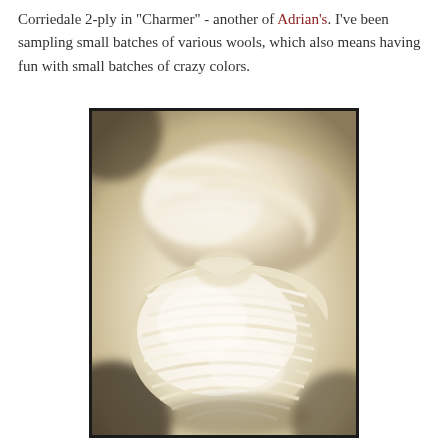Corriedale 2-ply in "Charmer" - another of Adrian's. I've been sampling small batches of various wools, which also means having fun with small batches of crazy colors.
[Figure (photo): Close-up photograph of a skein of cream/off-white Corriedale 2-ply yarn. The yarn is twisted and looped showing multiple strands, photographed with shallow depth of field against a warm beige background.]